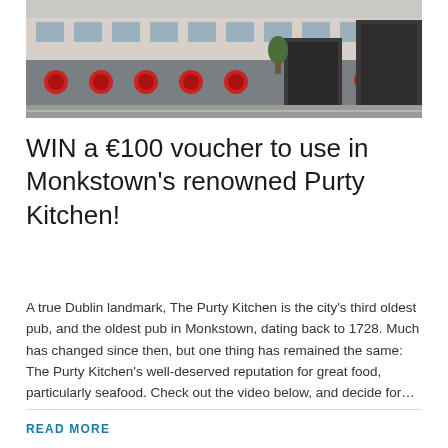[Figure (photo): Exterior photo of Purty Kitchen pub in Monkstown, showing the building facade with grey banners/barriers featuring red circular logos along the front, and the entrance doorway visible.]
WIN a €100 voucher to use in Monkstown's renowned Purty Kitchen!
A true Dublin landmark, The Purty Kitchen is the city's third oldest pub, and the oldest pub in Monkstown, dating back to 1728. Much has changed since then, but one thing has remained the same: The Purty Kitchen's well-deserved reputation for great food, particularly seafood. Check out the video below, and decide for…
READ MORE